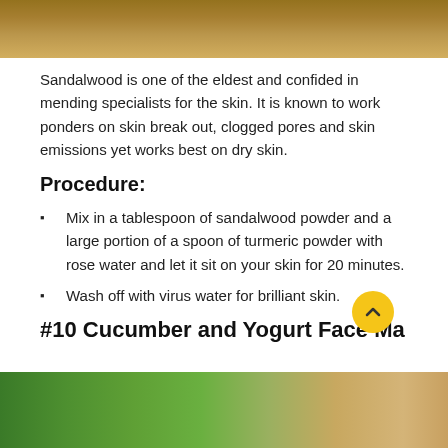[Figure (photo): Top portion of a photo showing burlap/jute fabric on yellow background, sandalwood related image]
Sandalwood is one of the eldest and confided in mending specialists for the skin. It is known to work ponders on skin break out, clogged pores and skin emissions yet works best on dry skin.
Procedure:
Mix in a tablespoon of sandalwood powder and a large portion of a spoon of turmeric powder with rose water and let it sit on your skin for 20 minutes.
Wash off with virus water for brilliant skin.
#10 Cucumber and Yogurt Face Ma
[Figure (photo): Bottom portion showing cucumber slices and a knife on a wooden cutting board]